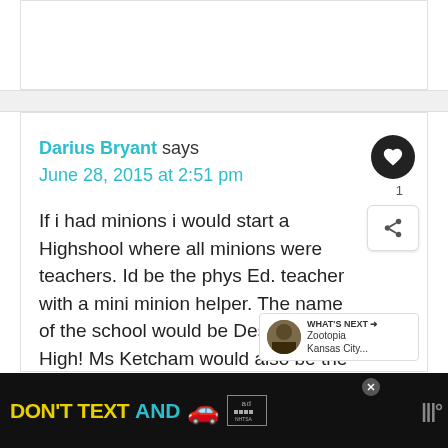Darius Bryant says
June 28, 2015 at 2:51 pm
If i had minions i would start a Highshool where all minions were teachers. Id be the phys Ed. teacher with a mini minion helper. The name of the school would be Despicable High! Ms Ketcham would also be the name of one of the teachers.
[Figure (screenshot): Ad banner: DON'T TEXT AND [car emoji] with NHTSA logo and close button. Weather.com logo on right.]